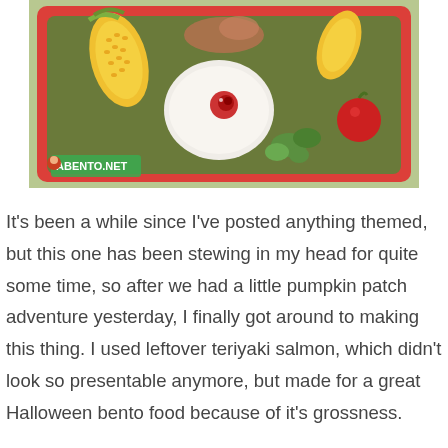[Figure (photo): A red rectangular bento box containing corn on the cob, a white rice ball shaped like an eyeball with a red pupil, cherry tomatoes, green vegetables, and other foods. A watermark in the bottom left reads 'ABENTO.NET' with a small character logo.]
It's been a while since I've posted anything themed, but this one has been stewing in my head for quite some time, so after we had a little pumpkin patch adventure yesterday, I finally got around to making this thing. I used leftover teriyaki salmon, which didn't look so presentable anymore, but made for a great Halloween bento food because of it's grossness.
The eyeballs are made out of rice, with an imitation crab pupil. The black is a small dot of nori cut with a hole puncher. Baby Girl helped me add ketchup to the eyes.